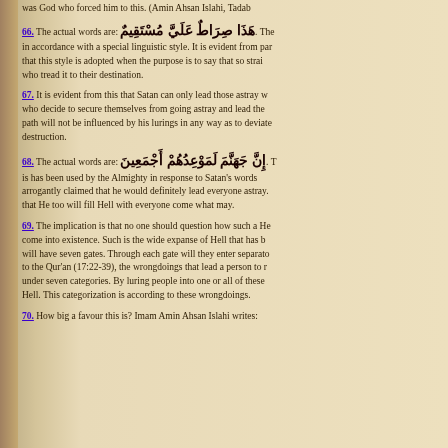was God who forced him to this. (Amin Ahsan Islahi, Tadab
66. The actual words are: هَذَا صِرَاطٌ عَلَيَّ مُسْتَقِيمٌ. The in accordance with a special linguistic style. It is evident from par that this style is adopted when the purpose is to say that so strai who tread it to their destination.
67. It is evident from this that Satan can only lead those astray w who decide to secure themselves from going astray and lead the path will not be influenced by his lurings in any way as to deviate destruction.
68. The actual words are: إِنَّ جَهَنَّمَ لَمَوْعِدُهُمْ أَجْمَعِينَ. T is has been used by the Almighty in response to Satan's words arrogantly claimed that he would definitely lead everyone astray. that He too will fill Hell with everyone come what may.
69. The implication is that no one should question how such a He come into existence. Such is the wide expanse of Hell that has b will have seven gates. Through each gate will they enter separato to the Qur'an (17:22-39), the wrongdoings that lead a person to r under seven categories. By luring people into one or all of these Hell. This categorization is according to these wrongdoings.
70. How big a favour this is? Imam Amin Ahsan Islahi writes: